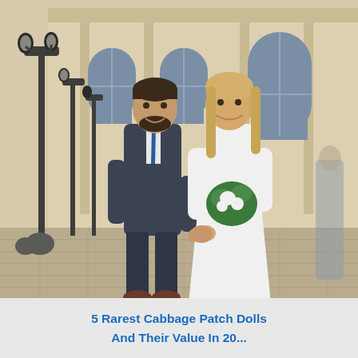[Figure (photo): A wedding couple walking together outdoors in front of a classical stone building with arched windows and ornate lamp posts. The groom wears a dark charcoal suit with a blue tie, and the bride wears a long-sleeved white gown and holds a green and white bouquet. They are holding hands and looking at each other, smiling.]
5 Rarest Cabbage Patch Dolls And Their Value In 20...